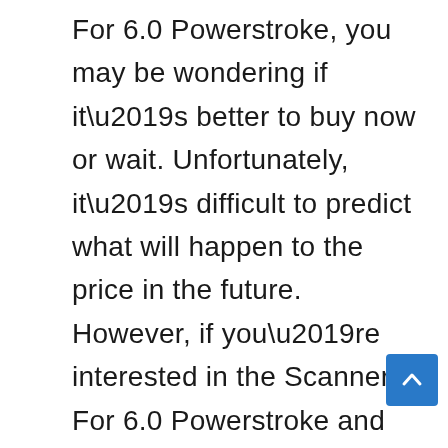For 6.0 Powerstroke, you may be wondering if it’s better to buy now or wait. Unfortunately, it’s difficult to predict what will happen to the price in the future. However, if you’re interested in the Scanner For 6.0 Powerstroke and have the means to purchase it now. If production shows no signs of slowing down, it might be worth buying now so you can enjoy your purchase sooner rather than later. However, if production is decreasing and prices are expected to rise, it might be better to wait until after the hype has